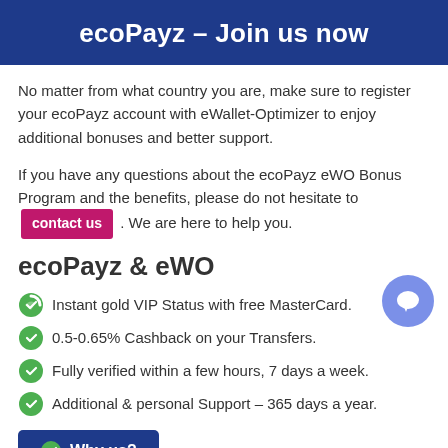ecoPayz – Join us now
No matter from what country you are, make sure to register your ecoPayz account with eWallet-Optimizer to enjoy additional bonuses and better support.
If you have any questions about the ecoPayz eWO Bonus Program and the benefits, please do not hesitate to contact us . We are here to help you.
ecoPayz & eWO
Instant gold VIP Status with free MasterCard.
0.5-0.65% Cashback on your Transfers.
Fully verified within a few hours, 7 days a week.
Additional & personal Support – 365 days a year.
Why us?